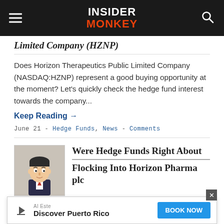INSIDER MONKEY
Limited Company (HZNP)
Does Horizon Therapeutics Public Limited Company (NASDAQ:HZNP) represent a good buying opportunity at the moment? Let’s quickly check the hedge fund interest towards the company...
Keep Reading →
June 21 - Hedge Funds, News - Comments
Were Hedge Funds Right About Flocking Into Horizon Pharma plc
[Figure (illustration): Cartoon caricature illustration of a man in a business suit]
Al Este Discover Puerto Rico | BOOK NOW